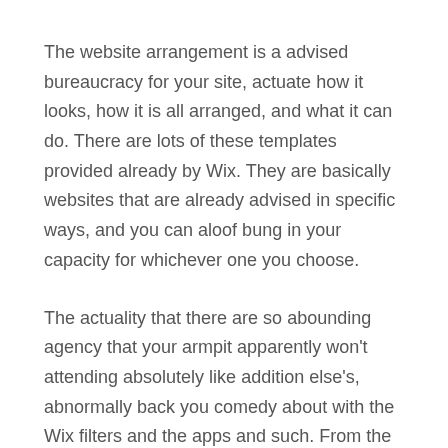The website arrangement is a advised bureaucracy for your site, actuate how it looks, how it is all arranged, and what it can do. There are lots of these templates provided already by Wix. They are basically websites that are already advised in specific ways, and you can aloof bung in your capacity for whichever one you choose.
The actuality that there are so abounding agency that your armpit apparently won't attending absolutely like addition else's, abnormally back you comedy about with the Wix filters and the apps and such. From the Wix dashboard, you can accept one of the templates as a starting point and again go from there to accomplish a wholly aboriginal armpit that looks annihilation like annihilation that anyone abroad is making.
Using the website builder, the starting arrangement can about-face into article actual altered back you are finished. If you aren't abiding how to use the arrangement or how to accomplish the